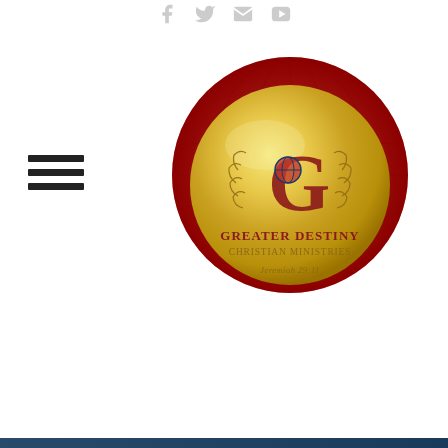Social media icons: Facebook, Twitter, Email, YouTube
[Figure (illustration): Hamburger menu icon — three horizontal black lines stacked]
[Figure (logo): Greater Destiny Christian Ministries circular logo. Gold metallic coin-style circle with a red globe border. Contains a large stylized G with a globe and laurel wreath icon, text reading 'Greater Destiny Christian Ministries' and 'Jeremiah 29:11' in dark gold/maroon lettering.]